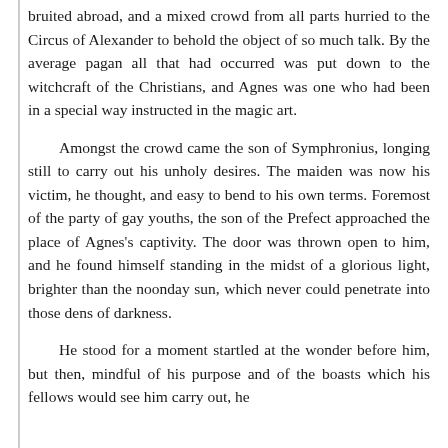bruited abroad, and a mixed crowd from all parts hurried to the Circus of Alexander to behold the object of so much talk. By the average pagan all that had occurred was put down to the witchcraft of the Christians, and Agnes was one who had been in a special way instructed in the magic art.
Amongst the crowd came the son of Symphronius, longing still to carry out his unholy desires. The maiden was now his victim, he thought, and easy to bend to his own terms. Foremost of the party of gay youths, the son of the Prefect approached the place of Agnes's captivity. The door was thrown open to him, and he found himself standing in the midst of a glorious light, brighter than the noonday sun, which never could penetrate into those dens of darkness.
He stood for a moment startled at the wonder before him, but then, mindful of his purpose and of the boasts which his fellows would see him carry out, he